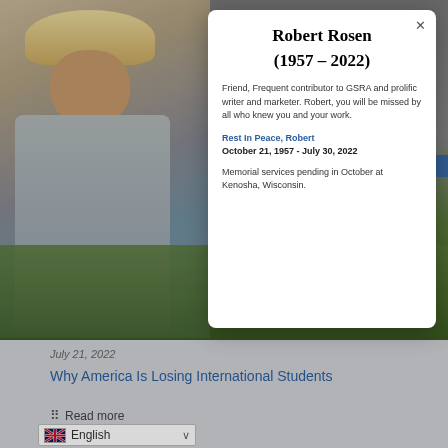[Figure (photo): Outdoor photo showing green grass lawn as background]
[Figure (photo): Portrait photo of Robert Rosen, an older man wearing a cowboy hat and grey vest, standing outdoors]
Robert Rosen
(1957 – 2022)
Friend, Frequent contributor to GSRA and prolific writer and marketer. Robert, you will be missed by all who knew you and your work.
Rest In Peace, Robert
October 21, 1957 - July 30, 2022
Memorial services pending in October at Kenosha, Wisconsin.
July 21, 2022
Why America Is Losing International Students
Read more
English